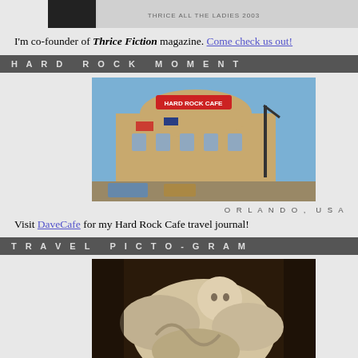[Figure (photo): Top image area, partially cropped magazine/book cover]
I'm co-founder of Thrice Fiction magazine. Come check us out!
HARD ROCK MOMENT
[Figure (photo): Photo of Hard Rock Cafe building in Orlando, USA]
ORLANDO, USA
Visit DaveCafe for my Hard Rock Cafe travel journal!
TRAVEL PICTO-GRAM
[Figure (photo): Photo of angel/cherub sculpture in Vatican City, Rome]
VATICAN CITY, ROME
Visit my travel map to see where I have been in this world!
BADGEMANIA
[Figure (logo): Blogography.com! badge/button]
[Figure (logo): Entries Feed button with green and orange RSS icons]